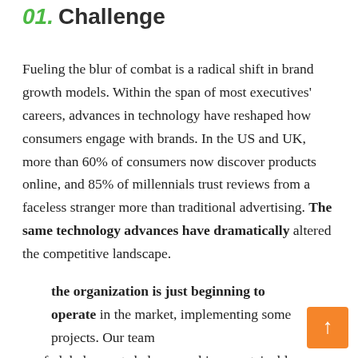01. Challenge
Fueling the blur of combat is a radical shift in brand growth models. Within the span of most executives' careers, advances in technology have reshaped how consumers engage with brands. In the US and UK, more than 60% of consumers now discover products online, and 85% of millennials trust reviews from a faceless stranger more than traditional advertising. The same technology advances have dramatically altered the competitive landscape.
the organization is just beginning to operate in the market, implementing some projects. Our team of global experts help you achieve sustainable organic growth by focusing on three critical